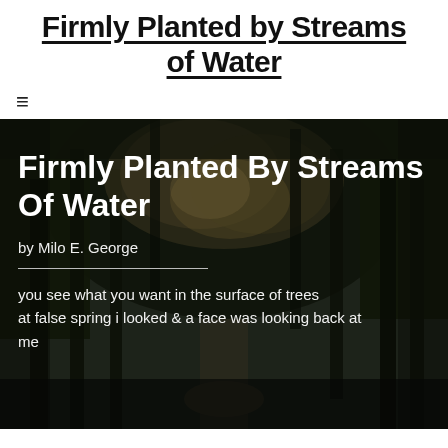Firmly Planted by Streams of Water
[Figure (other): Navigation hamburger menu icon (three horizontal lines)]
[Figure (photo): Dark forest background image with trees, dark green and brown tones, a path visible in the lower center]
Firmly Planted By Streams Of Water
by Milo E. George
you see what you want in the surface of trees
at false spring i looked & a face was looking back at me